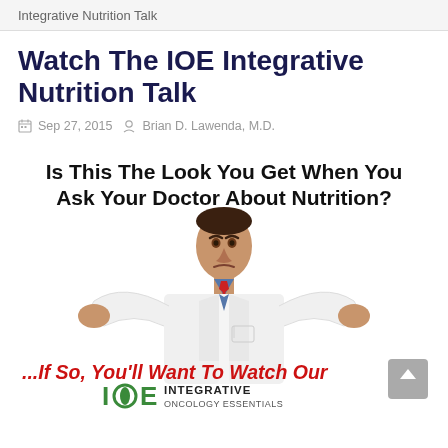Integrative Nutrition Talk
Watch The IOE Integrative Nutrition Talk
Sep 27, 2015   Brian D. Lawenda, M.D.
[Figure (photo): Promotional image for IOE Integrative Nutrition Talk video. Shows a doctor in a white coat shrugging with the text 'Is This The Look You Get When You Ask Your Doctor About Nutrition?' at the top and '...If So, You'll Want To Watch Our IOE INTEGRATIVE ONCOLOGY ESSENTIALS Nutrition Video' at the bottom.]